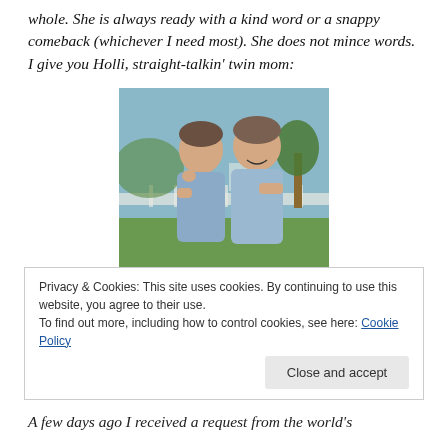whole. She is always ready with a kind word or a snappy comeback (whichever I need most). She does not mince words. I give you Holli, straight-talkin' twin mom:
[Figure (photo): Two boys wearing blue t-shirts standing back-to-back outdoors. The one on the left has his arms crossed and the one on the right is smiling. There is a white fence and trees in the background.]
Privacy & Cookies: This site uses cookies. By continuing to use this website, you agree to their use.
To find out more, including how to control cookies, see here: Cookie Policy
A few days ago I received a request from the world's